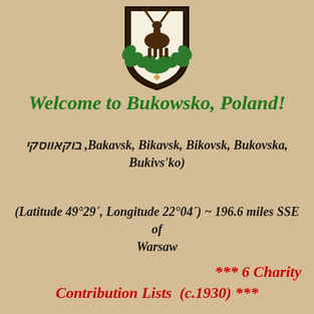[Figure (logo): Coat of arms with a deer/stag on a shield, green leaves, dark background, heraldic crest for Bukowsko]
Welcome to Bukowsko, Poland!
בוקאווסקי ,Bakavsk, Bikavsk, Bikovsk, Bukovska, Bukivs'ko)
(Latitude 49°29´, Longitude 22°04´) ~ 196.6 miles SSE of Warsaw
*** 6 Charity Contribution Lists  (c.1930) ***